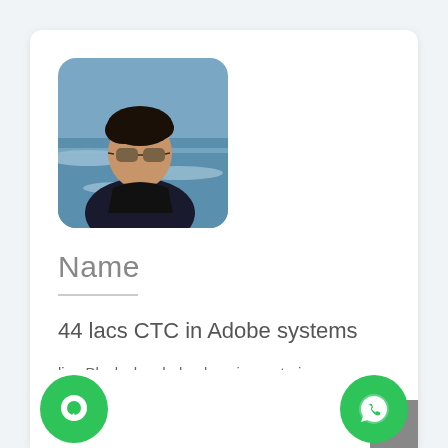[Figure (photo): Profile photo of a young man wearing sunglasses at a beach, rounded square crop]
Name
44 lacs CTC in Adobe systems
ling Blocks has helped me in mastering programming and in securi